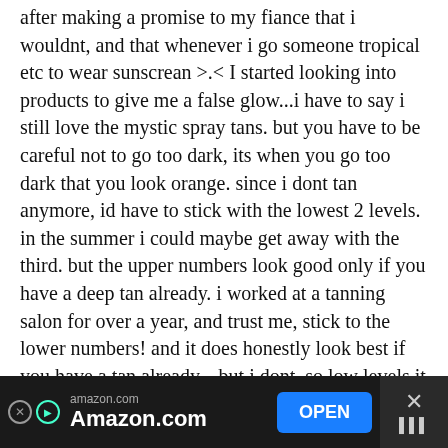after making a promise to my fiance that i wouldnt, and that whenever i go someone tropical etc to wear sunscrean >.< I started looking into products to give me a false glow...i have to say i still love the mystic spray tans. but you have to be careful not to go too dark, its when you go too dark that you look orange. since i dont tan anymore, id have to stick with the lowest 2 levels. in the summer i could maybe get away with the third. but the upper numbers look good only if you have a deep tan already. i worked at a tanning salon for over a year, and trust me, stick to the lower numbers! and it does honestly look best if you have a tan already....but i dont, so low levels it is! :)also for
[Figure (other): Amazon.com advertisement banner at the bottom of the screen with dark background, Amazon logo, 'OPEN' button in blue, and close button on the right.]